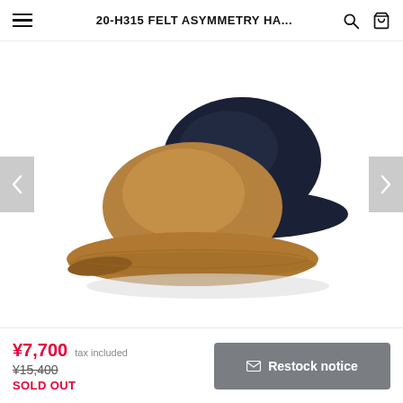20-H315 FELT ASYMMETRY HA...
[Figure (photo): Two felt asymmetry hats — one camel/tan in front and one navy/dark blue behind — displayed on a white background. Left and right navigation chevron buttons visible on sides.]
¥7,700 tax included
¥15,400
SOLD OUT
✉ Restock notice